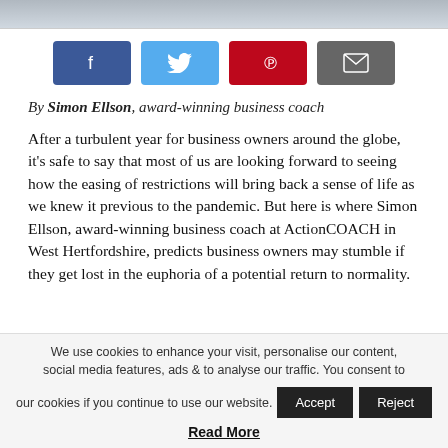[Figure (photo): Partial photo of a person at top of page]
[Figure (infographic): Social sharing buttons: Facebook (blue), Twitter (light blue), Pinterest (red), Email (grey)]
By Simon Ellson, award-winning business coach
After a turbulent year for business owners around the globe, it’s safe to say that most of us are looking forward to seeing how the easing of restrictions will bring back a sense of life as we knew it previous to the pandemic. But here is where Simon Ellson, award-winning business coach at ActionCOACH in West Hertfordshire, predicts business owners may stumble if they get lost in the euphoria of a potential return to normality.
We use cookies to enhance your visit, personalise our content, social media features, ads & to analyse our traffic. You consent to our cookies if you continue to use our website.
Read More